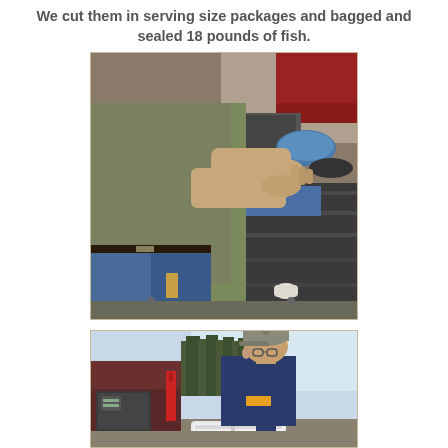We cut them in serving size packages and bagged and sealed 18 pounds of fish.
[Figure (photo): Person in olive shirt and jeans packaging fish fillets on a truck tailgate outdoors, with a blue bowl and equipment visible in the background.]
[Figure (photo): Man wearing a cap and blue t-shirt leaning over a white cooler next to a truck, with trees in the background.]